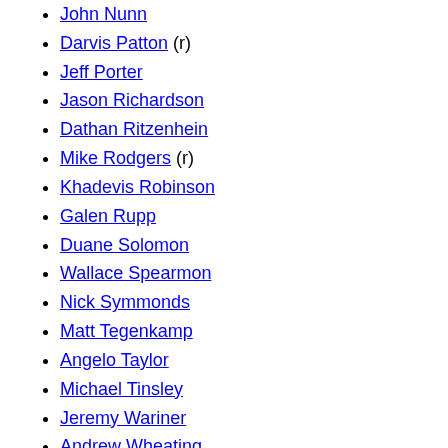John Nunn
Darvis Patton (r)
Jeff Porter
Jason Richardson
Dathan Ritzenhein
Mike Rodgers (r)
Khadevis Robinson
Galen Rupp
Duane Solomon
Wallace Spearmon
Nick Symmonds
Matt Tegenkamp
Angelo Taylor
Michael Tinsley
Jeremy Wariner
Andrew Wheating
Isiah Young
Lance Brooks
Christian Cantwell
Will Claye
Ashton Eaton
Sean Furey
Marquise Goodwin
Trey Hardee